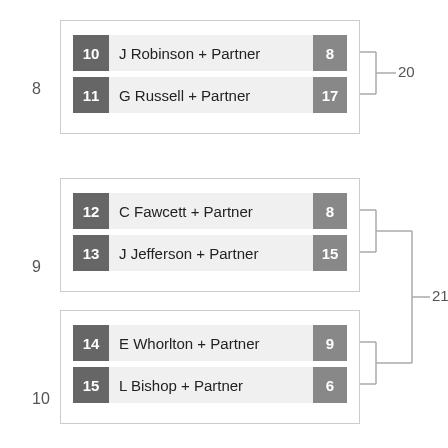[Figure (organizational-chart): Tournament bracket showing three matches (8, 9, 10) feeding into rounds 20 and 21. Match 8: seeds 10 (J Robinson + Partner, score 8) vs 11 (G Russell + Partner, score 17). Match 9: seeds 12 (C Fawcett + Partner, score 8) vs 13 (J Jefferson + Partner, score 15). Match 10: seeds 14 (E Whorlton + Partner, score 9) vs 15 (L Bishop + Partner, score 6). Matches 8 and 9 advance to round 20; matches 9 and 10 advance to round 21.]